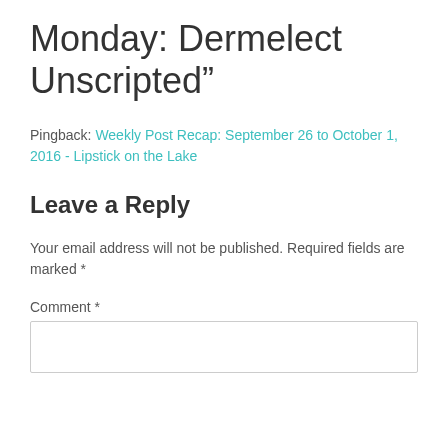Monday: Dermelect Unscripted”
Pingback: Weekly Post Recap: September 26 to October 1, 2016 - Lipstick on the Lake
Leave a Reply
Your email address will not be published. Required fields are marked *
Comment *